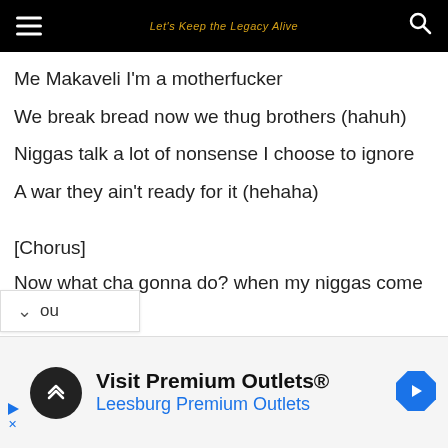Let's Keep the Legacy Alive
Me Makaveli I'm a motherfucker
We break bread now we thug brothers (hahuh)
Niggas talk a lot of nonsense I choose to ignore
A war they ain't ready for it (hehaha)
[Chorus]
Now what cha gonna do? when my niggas come for you
Haha hehe
Now what cha gonna do? when my niggas come for you
Tell me now what cha gonna do? when my niggas come for you